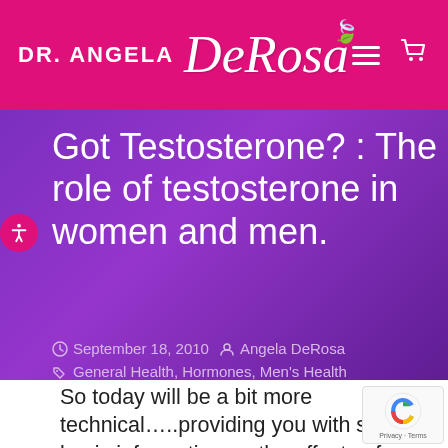Dr. Angela DeRosa
Got Testosterone? : The role of testosterone in women and men.
September 18, 2010   Angela DeRosa   General Health, Hormones, Men's Health
So today will be a bit more technical…..providing you with some basic information on the effects of hormones